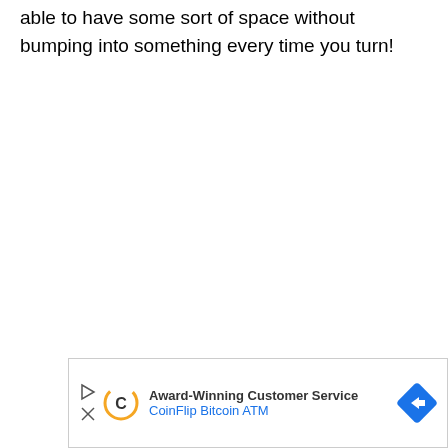able to have some sort of space without bumping into something every time you turn!
[Figure (other): Advertisement banner for CoinFlip Bitcoin ATM with Award-Winning Customer Service text, play/close icons, stylized C logo, and blue direction arrow icon]